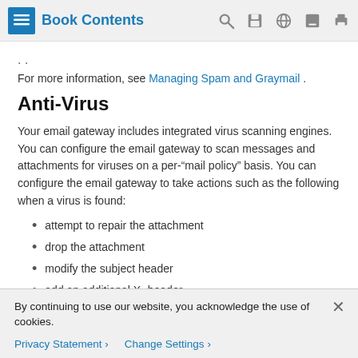Book Contents
. .
For more information, see Managing Spam and Graymail .
Anti-Virus
Your email gateway includes integrated virus scanning engines. You can configure the email gateway to scan messages and attachments for viruses on a per-“mail policy” basis. You can configure the email gateway to take actions such as the following when a virus is found:
attempt to repair the attachment
drop the attachment
modify the subject header
add an additional X- header
By continuing to use our website, you acknowledge the use of cookies.
Privacy Statement > Change Settings >